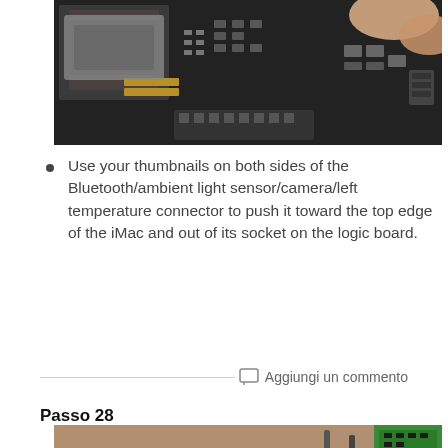[Figure (photo): Close-up photo of hands working on an iMac logic board, showing circuit board with chips and connectors]
Use your thumbnails on both sides of the Bluetooth/ambient light sensor/camera/left temperature connector to push it toward the top edge of the iMac and out of its socket on the logic board.
Aggiungi un commento
Passo 28
[Figure (photo): Close-up photo of hands disconnecting a cable connector on an iMac logic board, with a green component visible in the background]